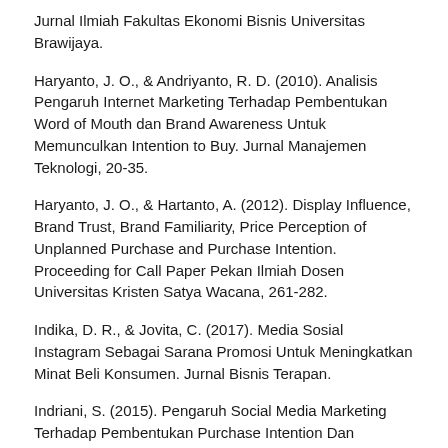Jurnal Ilmiah Fakultas Ekonomi Bisnis Universitas Brawijaya.
Haryanto, J. O., & Andriyanto, R. D. (2010). Analisis Pengaruh Internet Marketing Terhadap Pembentukan Word of Mouth dan Brand Awareness Untuk Memunculkan Intention to Buy. Jurnal Manajemen Teknologi, 20-35.
Haryanto, J. O., & Hartanto, A. (2012). Display Influence, Brand Trust, Brand Familiarity, Price Perception of Unplanned Purchase and Purchase Intention. Proceeding for Call Paper Pekan Ilmiah Dosen Universitas Kristen Satya Wacana, 261-282.
Indika, D. R., & Jovita, C. (2017). Media Sosial Instagram Sebagai Sarana Promosi Untuk Meningkatkan Minat Beli Konsumen. Jurnal Bisnis Terapan.
Indriani, S. (2015). Pengaruh Social Media Marketing Terhadap Pembentukan Purchase Intention Dan Customer Equity. Indonesia Journal of Entrepreneurship, 66-79.